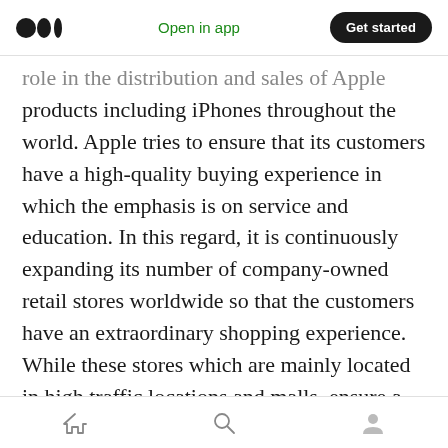Open in app | Get started
role in the distribution and sales of Apple products including iPhones throughout the world. Apple tries to ensure that its customers have a high-quality buying experience in which the emphasis is on service and education. In this regard, it is continuously expanding its number of company-owned retail stores worldwide so that the customers have an extraordinary shopping experience. While these stores which are mainly located in high traffic locations and malls, ensure a superior buying experience for customers, on the other hand, they also help attract new customers. Apple has designed its
Home | Search | Profile